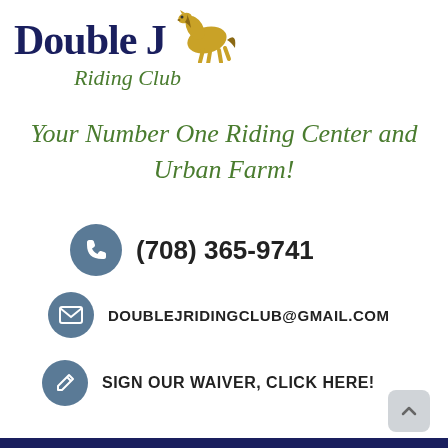[Figure (logo): Double J Riding Club logo with horse illustration and text]
Your Number One Riding Center and Urban Farm!
(708) 365-9741
DOUBLEJRIDINGCLUB@GMAIL.COM
SIGN OUR WAIVER, CLICK HERE!